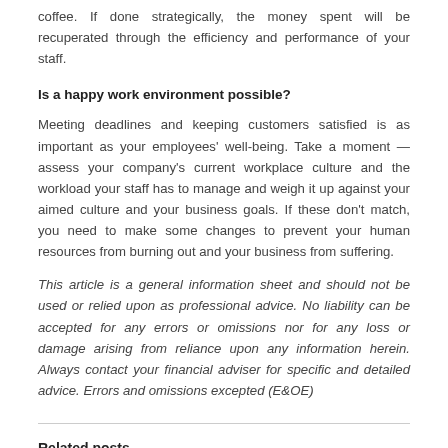coffee. If done strategically, the money spent will be recuperated through the efficiency and performance of your staff.
Is a happy work environment possible?
Meeting deadlines and keeping customers satisfied is as important as your employees' well-being. Take a moment — assess your company's current workplace culture and the workload your staff has to manage and weigh it up against your aimed culture and your business goals. If these don't match, you need to make some changes to prevent your human resources from burning out and your business from suffering.
This article is a general information sheet and should not be used or relied upon as professional advice. No liability can be accepted for any errors or omissions nor for any loss or damage arising from reliance upon any information herein. Always contact your financial adviser for specific and detailed advice. Errors and omissions excepted (E&OE)
Related posts